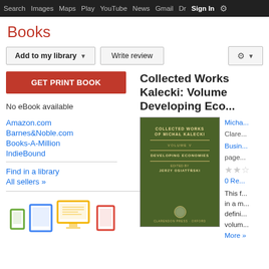Search  Images  Maps  Play  YouTube  News  Gmail  Drive  More  Sign In  (settings)
Books
[Figure (screenshot): Google Books UI with Add to my library, Write review, and settings gear buttons]
GET PRINT BOOK
No eBook available
Amazon.com
Barnes&Noble.com
Books-A-Million
IndieBound
Find in a library
All sellers »
[Figure (illustration): Device icons: phone, tablet, laptop, desktop monitor, e-reader in green, blue, yellow, red colors]
Collected Works of Kalecki: Volume V: Developing Eco...
[Figure (photo): Book cover: Collected Works of Michal Kalecki, Volume V: Developing Economies, edited by Jerzy Osiatyński, Clarendon Press Oxford, dark green cover]
Micha...
Clare...
Busin...
pages
★★☆
0 Re...
This f... in a m... defini... volum...
More »